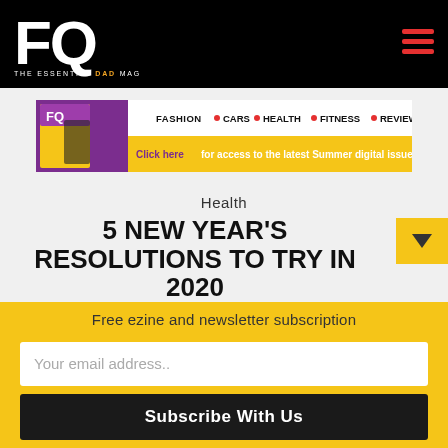FQ THE ESSENTIAL DAD MAG
[Figure (infographic): FQ magazine banner ad: FASHION • CARS • HEALTH • FITNESS • REVIEWS. Click here for access to the latest Summer digital issue!]
Health
5 NEW YEAR'S RESOLUTIONS TO TRY IN 2020
Free ezine and newsletter subscription
Your email address..
Subscribe With Us